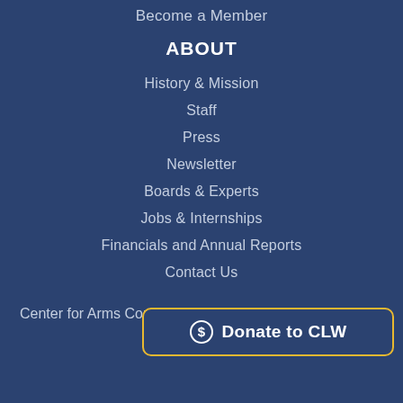Become a Member
ABOUT
History & Mission
Staff
Press
Newsletter
Boards & Experts
Jobs & Internships
Financials and Annual Reports
Contact Us
Center for Arms Contro...
[Figure (other): Donate to CLW button with dollar sign icon, yellow border, dark blue background]